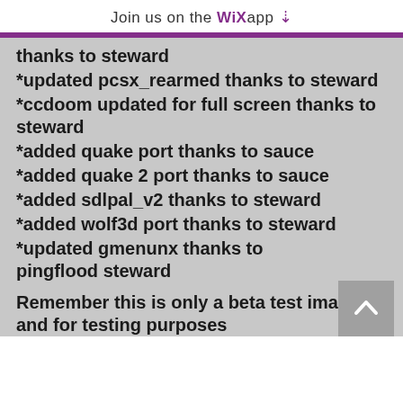Join us on the WiX app ↓
thanks to steward
*updated pcsx_rearmed thanks to steward
*ccdoom updated for full screen thanks to steward
*added quake port thanks to sauce
*added quake 2 port thanks to sauce
*added sdlpal_v2 thanks to steward
*added wolf3d port thanks to steward
*updated gmenunx thanks to pingflood steward
Remember this is only a beta test image and for testing purposes